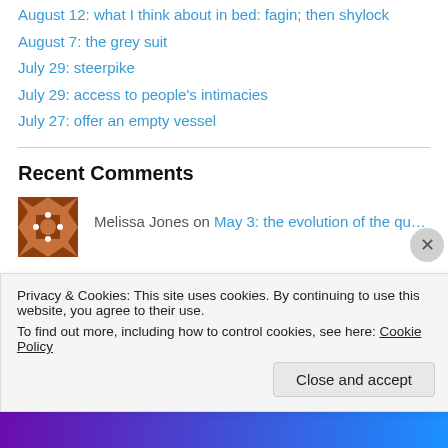August 12: what I think about in bed: fagin; then shylock
August 7: the grey suit
July 29: steerpike
July 29: access to people's intimacies
July 27: offer an empty vessel
Recent Comments
[Figure (illustration): Brown geometric quilt-pattern avatar for Melissa Jones]
Melissa Jones on May 3: the evolution of the qu…
[Figure (illustration): Teal geometric quilt-pattern avatar for Anonymous]
Anonymous on November 8: on taking a shower
Privacy & Cookies: This site uses cookies. By continuing to use this website, you agree to their use.
To find out more, including how to control cookies, see here: Cookie Policy
Close and accept